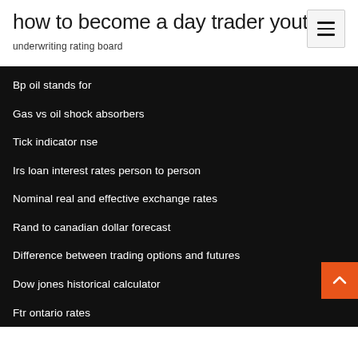how to become a day trader youtube
underwriting rating board
Bp oil stands for
Gas vs oil shock absorbers
Tick indicator nse
Irs loan interest rates person to person
Nominal real and effective exchange rates
Rand to canadian dollar forecast
Difference between trading options and futures
Dow jones historical calculator
Ftr ontario rates